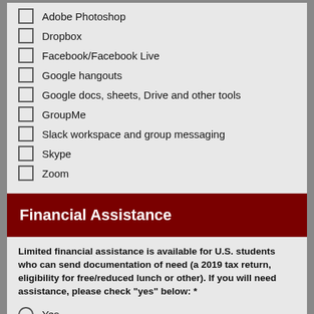Adobe Photoshop
Dropbox
Facebook/Facebook Live
Google hangouts
Google docs, sheets, Drive and other tools
GroupMe
Slack workspace and group messaging
Skype
Zoom
Financial Assistance
Limited financial assistance is available for U.S. students who can send documentation of need (a 2019 tax return, eligibility for free/reduced lunch or other). If you will need assistance, please check "yes" below: *
Yes
No